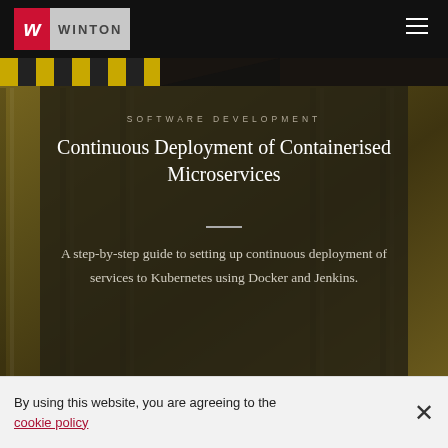Winton — navigation header with logo and hamburger menu
[Figure (screenshot): Hero background image showing industrial shipping containers or similar metallic structure with yellow and black safety stripes, overlaid with a dark semi-transparent panel]
SOFTWARE DEVELOPMENT
Continuous Deployment of Containerised Microservices
A step-by-step guide to setting up continuous deployment of services to Kubernetes using Docker and Jenkins.
By using this website, you are agreeing to the cookie policy